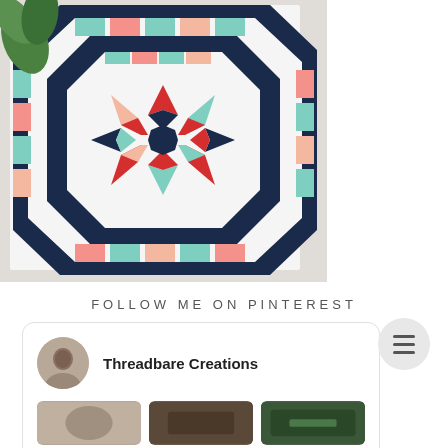[Figure (photo): A decorative star quilt with navy blue, teal, red, coral and white fabrics arranged in a compass star pattern with an octagonal border. The quilt is displayed flat on a white surface with green plant leaves visible in the upper left corner.]
FOLLOW ME ON PINTEREST
[Figure (screenshot): Pinterest profile card for 'Threadbare Creations' showing a profile photo of a woman with long brown hair, the bold text 'Threadbare Creations', and three small thumbnail images below.]